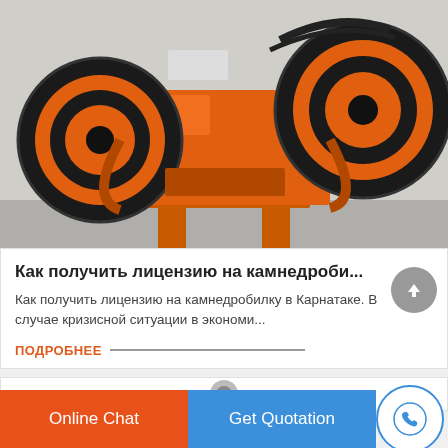[Figure (photo): Orange jaw crusher machine with large black flywheels on both sides, mounted on a four-leg frame, photographed outdoors on concrete surface.]
Как получить лицензию на камнедроби...
Как получить лицензию на камнедробилку в Карнатаке. В случае кризисной ситуации в экономи...
ПОДРОБНЕЕ
[Figure (photo): Partial view of the next card showing a machine component thumbnail at bottom.]
Online Chat   Get Quotation